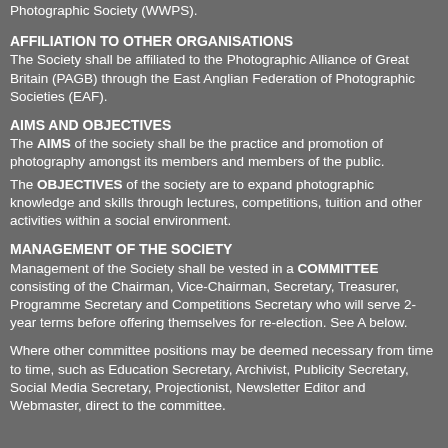Photographic Society (WWPS).
AFFILIATION TO OTHER ORGANISATIONS
The Society shall be affiliated to the Photographic Alliance of Great Britain (PAGB) through the East Anglian Federation of Photographic Societies (EAF).
AIMS AND OBJECTIVES
The AIMS of the society shall be the practice and promotion of photography amongst its members and members of the public.
The OBJECTIVES of the society are to expand photographic knowledge and skills through lectures, competitions, tuition and other activities within a social environment.
MANAGEMENT OF THE SOCIETY
Management of the Society shall be vested in a COMMITTEE consisting of the Chairman, Vice-Chairman, Secretary, Treasurer, Programme Secretary and Competitions Secretary who will serve 2-year terms before offering themselves for re-election. See A below.
Where other committee positions may be deemed necessary from time to time, such as Education Secretary, Archivist, Publicity Secretary, Social Media Secretary, Projectionist, Newsletter Editor and Webmaster, direct to the committee.